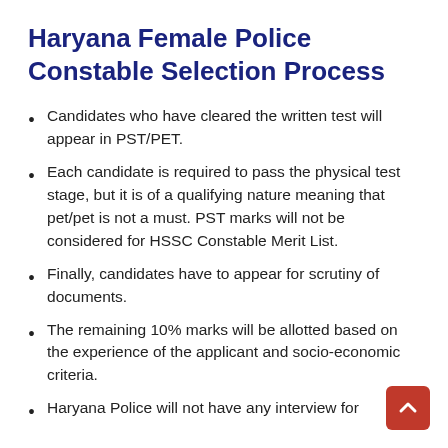Haryana Female Police Constable Selection Process
Candidates who have cleared the written test will appear in PST/PET.
Each candidate is required to pass the physical test stage, but it is of a qualifying nature meaning that pet/pet is not a must. PST marks will not be considered for HSSC Constable Merit List.
Finally, candidates have to appear for scrutiny of documents.
The remaining 10% marks will be allotted based on the experience of the applicant and socio-economic criteria.
Haryana Police will not have any interview for